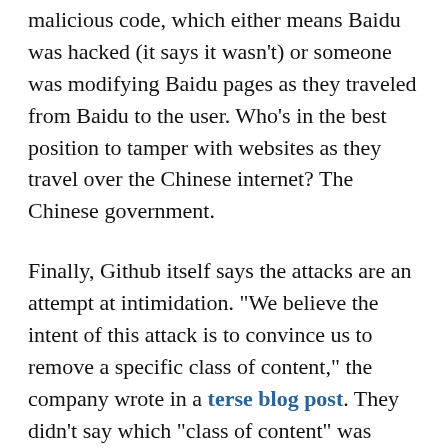malicious code, which either means Baidu was hacked (it says it wasn't) or someone was modifying Baidu pages as they traveled from Baidu to the user. Who's in the best position to tamper with websites as they travel over the Chinese internet? The Chinese government.
Finally, Github itself says the attacks are an attempt at intimidation. "We believe the intent of this attack is to convince us to remove a specific class of content," the company wrote in a terse blog post. They didn't say which "class of content" was being targeted, but it seems obvious that it's related to Chinese anti-censorship efforts.
The fight isn't over yet
To defend against denial-of-service attacks, website operators have to figure out which requests are